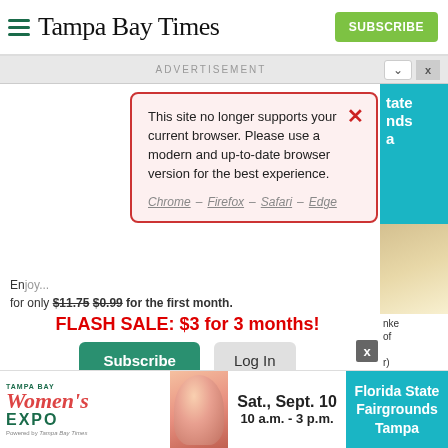Tampa Bay Times
ADVERTISEMENT
[Figure (screenshot): Browser compatibility modal dialog on Tampa Bay Times website saying: This site no longer supports your current browser. Please use a modern and up-to-date browser version for the best experience. Chrome – Firefox – Safari – Edge]
for only $11.75 $0.99 for the first month.
FLASH SALE: $3 for 3 months!
Subscribe
Log In
Interested in print delivery? Subscribe here →
[Figure (infographic): Tampa Bay Women's Expo advertisement banner: Sat., Sept. 10, 10 a.m. - 3 p.m., Florida State Fairgrounds Tampa]